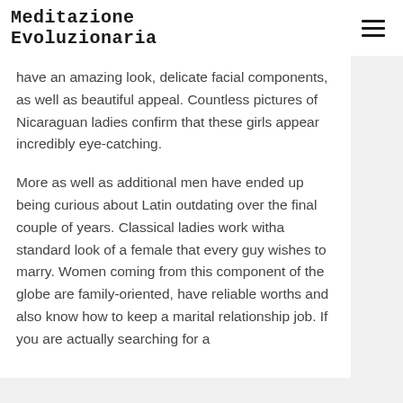Meditazione Evoluzionaria
have an amazing look, delicate facial components, as well as beautiful appeal. Countless pictures of Nicaraguan ladies confirm that these girls appear incredibly eye-catching.
More as well as additional men have ended up being curious about Latin outdating over the final couple of years. Classical ladies work witha standard look of a female that every guy wishes to marry. Women coming from this component of the globe are family-oriented, have reliable worths and also know how to keep a marital relationship job. If you are actually searching for a